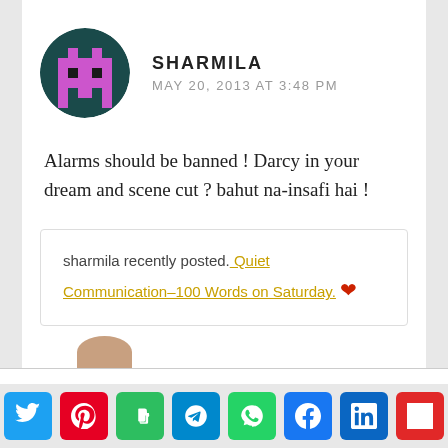[Figure (illustration): Pixel art avatar in a circle — teal/dark background with pink/purple pixel character resembling a space invader]
SHARMILA
MAY 20, 2013 AT 3:48 PM
Alarms should be banned ! Darcy in your dream and scene cut ? bahut na-insafi hai !
sharmila recently posted. Quiet Communication–100 Words on Saturday.
Privacy & Cookies: This site uses cookies. By continuing to use this website, you agree to their use. To find out more, including how to control cookies, see here: Cookie Policy
[Figure (infographic): Row of social share buttons: Twitter, Pinterest, Evernote, Telegram, WhatsApp, Facebook, LinkedIn, Flipboard]